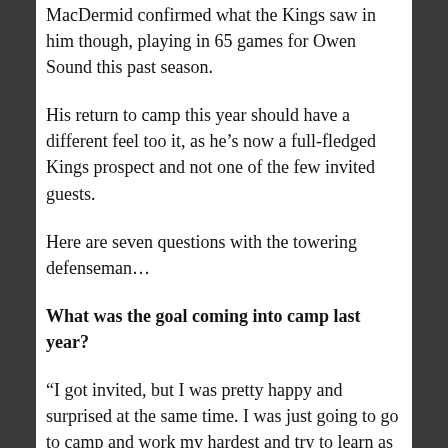MacDermid confirmed what the Kings saw in him though, playing in 65 games for Owen Sound this past season.
His return to camp this year should have a different feel too it, as he’s now a full-fledged Kings prospect and not one of the few invited guests.
Here are seven questions with the towering defenseman…
What was the goal coming into camp last year?
“I got invited, but I was pretty happy and surprised at the same time. I was just going to go to camp and work my hardest and try to learn as much as possible. I wasn’t thinking at all of a contract, that came as a total surprise to me. I just went to work my hardest and do my best out there. I didn’t really have any pressure because I only played nine games the year before due